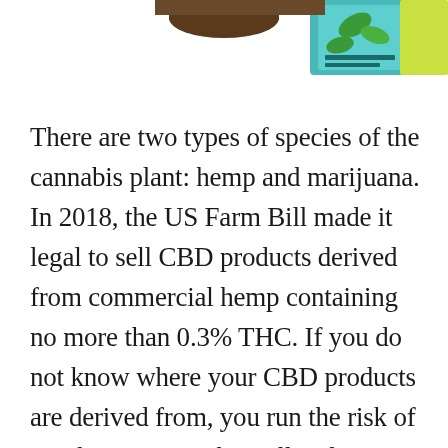[Figure (photo): Partial view of a CBD product bottle/packaging with colorful tropical-themed label, cropped at top of page]
There are two types of species of the cannabis plant: hemp and marijuana. In 2018, the US Farm Bill made it legal to sell CBD products derived from commercial hemp containing no more than 0.3% THC. If you do not know where your CBD products are derived from, you run the risk of purchasing something illegal. Worse, you could buy something harmful. People's interest in CBD lies in its purported health benefits. People use CBD for symptoms and conditions such as insomnia, anxiety, lack of appetite, inflammation, and more. Research is currently being done into CBD's therapeutic